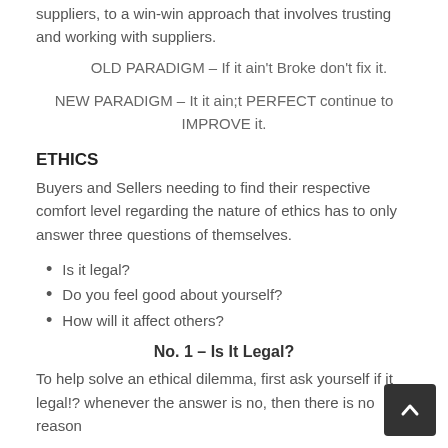suppliers, to a win-win approach that involves trusting and working with suppliers.
OLD PARADIGM – If it ain't Broke don't fix it.
NEW PARADIGM – It it ain;t PERFECT continue to IMPROVE it.
ETHICS
Buyers and Sellers needing to find their respective comfort level regarding the nature of ethics has to only answer three questions of themselves.
Is it legal?
Do you feel good about yourself?
How will it affect others?
No. 1 – Is It Legal?
To help solve an ethical dilemma, first ask yourself if it legal!? whenever the answer is no, then there is no reason